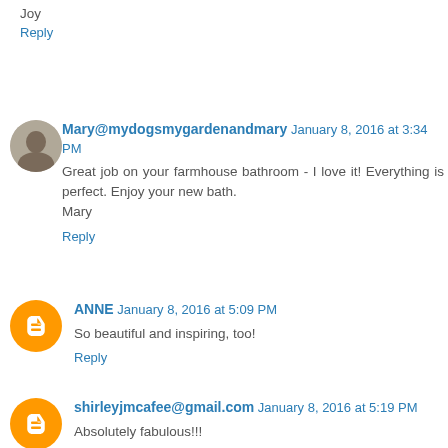Joy
Reply
Mary@mydogsmygardenandmary January 8, 2016 at 3:34 PM
Great job on your farmhouse bathroom - I love it! Everything is perfect. Enjoy your new bath.
Mary
Reply
ANNE January 8, 2016 at 5:09 PM
So beautiful and inspiring, too!
Reply
shirleyjmcafee@gmail.com January 8, 2016 at 5:19 PM
Absolutely fabulous!!!